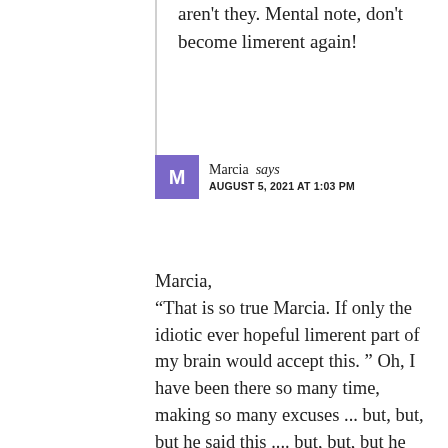aren't they. Mental note, don't become limerent again!
Marcia says
AUGUST 5, 2021 AT 1:03 PM
Marcia,
“That is so true Marcia. If only the idiotic ever hopeful limerent part of my brain would accept this. ” Oh, I have been there so many time, making so many excuses ... but, but, but he said this .... but, but, but he did this. Meant nothing. I’ve learned that anything less than a “hell, yes!” is a no. This is true even if the person is with someone else. If